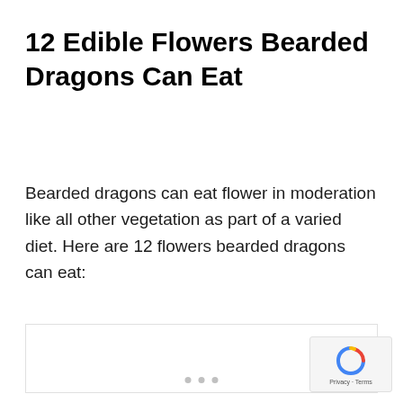12 Edible Flowers Bearded Dragons Can Eat
Bearded dragons can eat flower in moderation like all other vegetation as part of a varied diet. Here are 12 flowers bearded dragons can eat:
[Figure (other): Placeholder image area with navigation dots at bottom]
Privacy · Terms